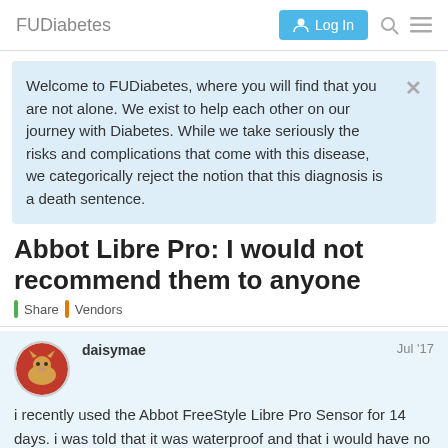FUDiabetes
Welcome to FUDiabetes, where you will find that you are not alone. We exist to help each other on our journey with Diabetes. While we take seriously the risks and complications that come with this disease, we categorically reject the notion that this diagnosis is a death sentence.
Abbot Libre Pro: I would not recommend them to anyone
Share   Vendors
daisymae  Jul '17
i recently used the Abbot FreeStyle Libre Pro Sensor for 14 days. i was told that it was waterproof and that i would have no difficulty swimming with it. it worked fine. it uncomfortable and i hardly noticed that i w